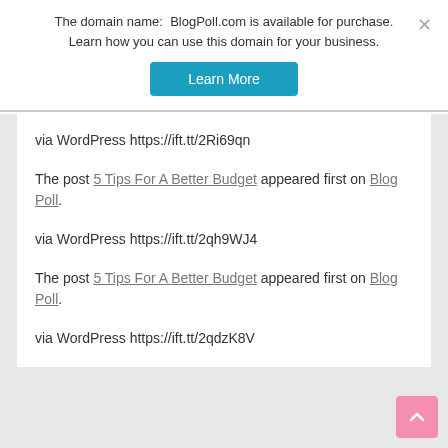The domain name:  BlogPoll.com is available for purchase. Learn how you can use this domain for your business.
[Figure (other): Learn More button - teal/blue rounded rectangle button]
via WordPress https://ift.tt/2Ri69qn
The post 5 Tips For A Better Budget appeared first on Blog Poll.
via WordPress https://ift.tt/2qh9WJ4
The post 5 Tips For A Better Budget appeared first on Blog Poll.
via WordPress https://ift.tt/2qdzK8V